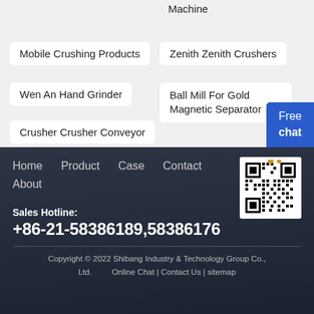Machine
Mobile Crushing Products
Zenith Zenith Crushers
Wen An Hand Grinder
Ball Mill For Gold Magnetic Separator
Crusher Crusher Conveyor
Free chat
Home  Product  Case  Contact  About
Sales Hotline:
+86-21-58386189,58386176
Copyright © 2022 Shibang Industry & Technology Group Co., Ltd.  Online Chat | Contact Us | sitemap